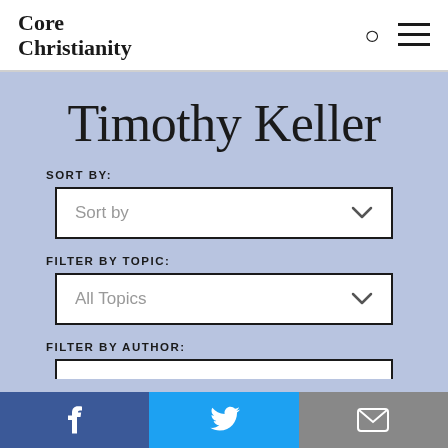Core Christianity
Timothy Keller
SORT BY:
Sort by
FILTER BY TOPIC:
All Topics
FILTER BY AUTHOR: